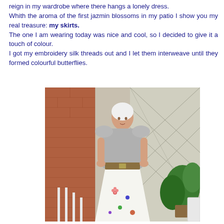reign in my wardrobe where there hangs a lonely dress.
Whith the aroma of the first jazmin blossoms in my patio I show you my real treasure: my skirts.
The one I am wearing today was nice and cool, so I decided to give it a touch of colour.
I got my embroidery silk threads out and I let them interweave until they formed colourful butterflies.
[Figure (photo): A woman standing on a patio or balcony wearing a grey top with ruffled shoulders, a decorative belt, and a white skirt with embroidered colourful butterflies/flowers. She has a white headscarf. The background shows brick walls, lattice fencing, and potted plants.]